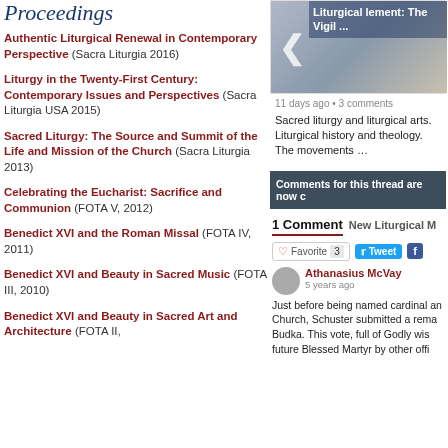Proceedings
Authentic Liturgical Renewal in Contemporary Perspective (Sacra Liturgia 2016)
Liturgy in the Twenty-First Century: Contemporary Issues and Perspectives (Sacra Liturgia USA 2015)
Sacred Liturgy: The Source and Summit of the Life and Mission of the Church (Sacra Liturgia 2013)
Celebrating the Eucharist: Sacrifice and Communion (FOTA V, 2012)
Benedict XVI and the Roman Missal (FOTA IV, 2011)
Benedict XVI and Beauty in Sacred Music (FOTA III, 2010)
Benedict XVI and Beauty in Sacred Art and Architecture (FOTA II,
[Figure (screenshot): Preview image with arrow and overlay text: Liturgical lement: The Vigil ...]
11 days ago • 3 comments
Sacred liturgy and liturgical arts. Liturgical history and theology. The movements …
Comments for this thread are now c
1 Comment   New Liturgical M
Favorite 3  Tweet  F
Athanasius McVay
5 years ago
Just before being named cardinal an Church, Schuster submitted a rema Budka. This vote, full of Godly wis future Blessed Martyr by other offi